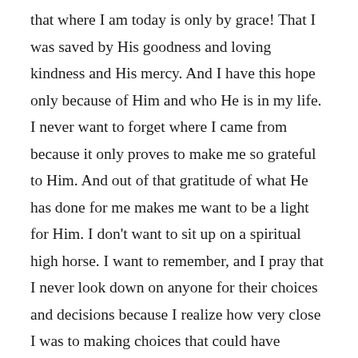that where I am today is only by grace! That I was saved by His goodness and loving kindness and His mercy. And I have this hope only because of Him and who He is in my life. I never want to forget where I came from because it only proves to make me so grateful to Him. And out of that gratitude of what He has done for me makes me want to be a light for Him. I don't want to sit up on a spiritual high horse. I want to remember, and I pray that I never look down on anyone for their choices and decisions because I realize how very close I was to making choices that could have destroyed me. I pray that I can be a light to show them Jesus' love. Because I am who I am only by His grace.
Lord Jesus I pray never let me forget, never let us forget where we come from. Help us to be kind and to